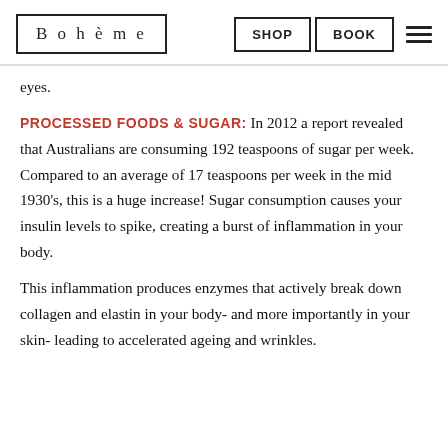Bohème | SHOP | BOOK
eyes.
PROCESSED FOODS & SUGAR: In 2012 a report revealed that Australians are consuming 192 teaspoons of sugar per week. Compared to an average of 17 teaspoons per week in the mid 1930's, this is a huge increase! Sugar consumption causes your insulin levels to spike, creating a burst of inflammation in your body.
This inflammation produces enzymes that actively break down collagen and elastin in your body- and more importantly in your skin- leading to accelerated ageing and wrinkles.